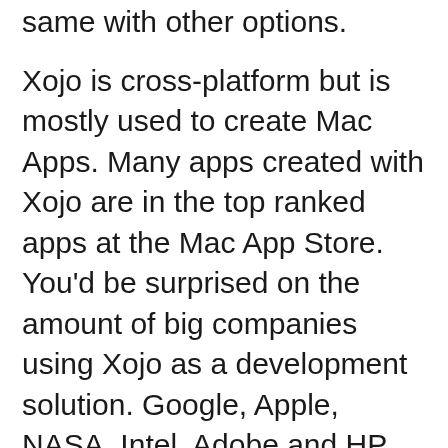same with other options.
Xojo is cross-platform but is mostly used to create Mac Apps. Many apps created with Xojo are in the top ranked apps at the Mac App Store. You’d be surprised on the amount of big companies using Xojo as a development solution. Google, Apple, NASA, Intel, Adobe and HP among others are using or used at some point Xojo because they are a player since 1997.
is quite similar to the ancient VisualBasic and some other object-